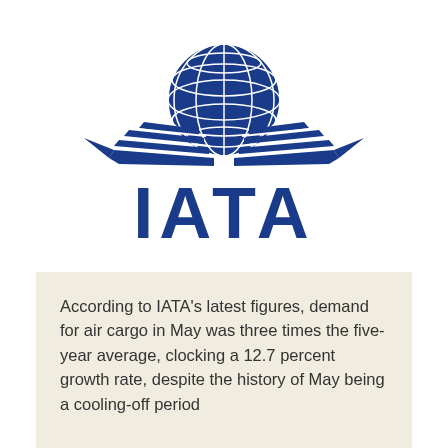[Figure (logo): IATA logo — a globe with grid lines flanked by stylized wings in dark blue, with the letters IATA in bold dark blue below]
According to IATA's latest figures, demand for air cargo in May was three times the five-year average, clocking a 12.7 percent growth rate, despite the history of May being a cooling-off period